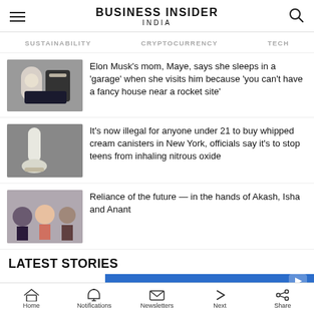Business Insider India
SUSTAINABILITY   CRYPTOCURRENCY   TECH
Elon Musk's mom, Maye, says she sleeps in a 'garage' when she visits him because 'you can't have a fancy house near a rocket site'
It's now illegal for anyone under 21 to buy whipped cream canisters in New York, officials say it's to stop teens from inhaling nitrous oxide
Reliance of the future — in the hands of Akash, Isha and Anant
LATEST STORIES
[Figure (screenshot): Advertisement banner for Student Microscope Bundles starting at $41.99, free shipping available]
Home   Notifications   Newsletters   Next   Share